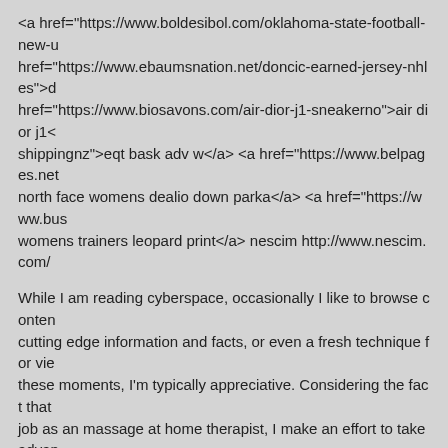<a href="https://www.boldesibol.com/oklahoma-state-football-new-u href="https://www.ebaumsnation.net/doncic-earned-jersey-nhles">d href="https://www.biosavons.com/air-dior-j1-sneakerno">air dior j1< shippingnz">eqt bask adv w</a> <a href="https://www.belpages.net north face womens dealio down parka</a> <a href="https://www.bus womens trainers leopard print</a> nescim http://www.nescim.com/
While I am reading cyberspace, occasionally I like to browse conten cutting edge information and facts, or even a fresh technique for vie these moments, I'm typically appreciative. Considering the fact that job as an massage at home therapist, I make an effort to take advan id=1&m=11&pl=113&dmcm=16782&euid=16603484876&out=https: page=recherche&page=recherche&recherche=http%3A%2F%2Fnjn
Good job on the new site! Now go ahead and submit it to our free di
Hey There. I found your blog the usage of msn. That is a very well w learn extra of your helpful information. Thanks for the post. I'll certai http://wiki.iurium.cz/w/U%C5%BEivatel:ChauBroadhurst6
Hey There. I found your blog the usage of msn. That is a very well w learn extra of your helpful information. Thanks for the post. I'll certai
Fine way of describing, and nice paragraph to take information on th to present in institution of higher education. Stop by my blog :: Slot8 http://wiki.iurium.cz/w/U%C5%BEivatel:ChauBroadhurst6